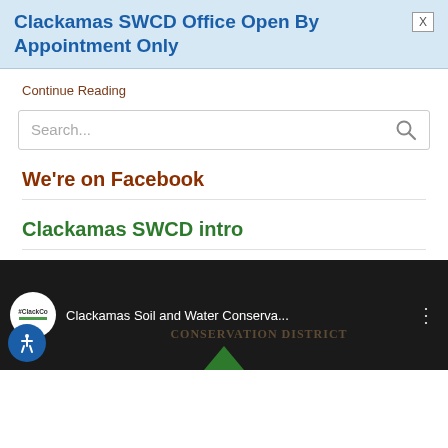Clackamas SWCD Office Open By Appointment Only
Continue Reading
[Figure (screenshot): Search input field with placeholder text 'Search...' and a magnifying glass icon on the right]
We're on Facebook
Clackamas SWCD intro
[Figure (screenshot): YouTube video thumbnail for 'Clackamas Soil and Water Conserva...' with a dark background showing 'CONSERVATION DISTRICT' text, a #ClackCo logo, and a green triangle at the bottom. An accessibility icon is overlaid at bottom left.]